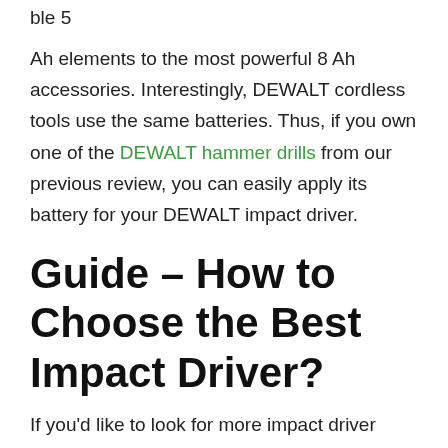ble 5
Ah elements to the most powerful 8 Ah accessories. Interestingly, DEWALT cordless tools use the same batteries. Thus, if you own one of the DEWALT hammer drills from our previous review, you can easily apply its battery for your DEWALT impact driver.
Guide – How to Choose the Best Impact Driver?
If you'd like to look for more impact driver models, you should always mind several crucial